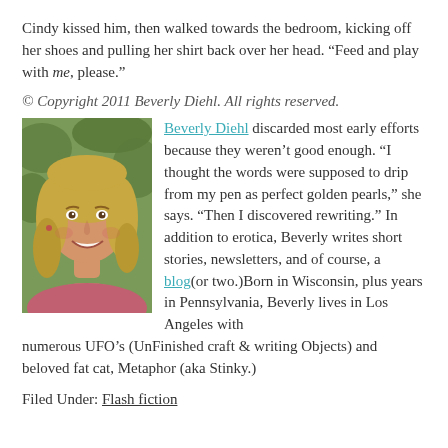Cindy kissed him, then walked towards the bedroom, kicking off her shoes and pulling her shirt back over her head. “Feed and play with me, please.”
© Copyright 2011 Beverly Diehl. All rights reserved.
[Figure (photo): Headshot photo of Beverly Diehl, a smiling blonde woman outdoors]
Beverly Diehl discarded most early efforts because they weren’t good enough. “I thought the words were supposed to drip from my pen as perfect golden pearls,” she says. “Then I discovered rewriting.” In addition to erotica, Beverly writes short stories, newsletters, and of course, a blog(or two.)Born in Wisconsin, plus years in Pennsylvania, Beverly lives in Los Angeles with numerous UFO’s (UnFinished craft & writing Objects) and beloved fat cat, Metaphor (aka Stinky.)
Filed Under: Flash fiction